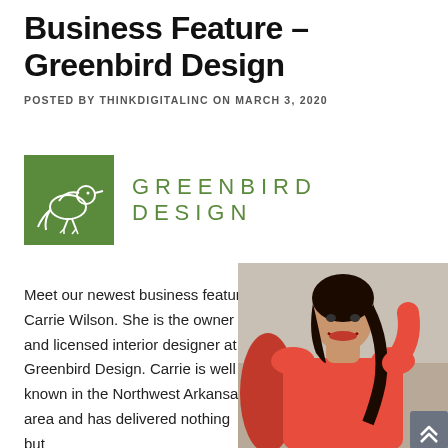Business Feature – Greenbird Design
POSTED BY THINKDIGITALINC ON MARCH 3, 2020
[Figure (logo): Greenbird Design logo: green square with white bird illustration and the text GREENBIRD DESIGN in green spaced letters]
Meet our newest business feature, Carrie Wilson. She is the owner and licensed interior designer at Greenbird Design. Carrie is well known in the Northwest Arkansas area and has delivered nothing but
[Figure (photo): Professional photo of Carrie Wilson, a woman with dark hair wearing a red top, smiling, seated in a red chair]